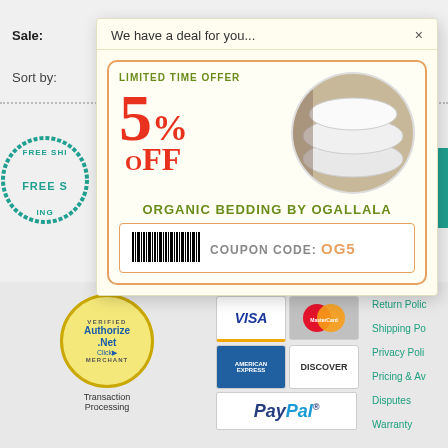Sale:
Sort by:
We have a deal for you...
[Figure (infographic): Coupon popup showing LIMITED TIME OFFER 5% OFF on Organic Bedding by Ogallala with coupon code OG5 and barcode]
LIMITED TIME OFFER
5% OFF
ORGANIC BEDDING BY OGALLALA
COUPON CODE: OG5
[Figure (logo): Authorize.Net Verified Merchant seal - gold circular badge]
Transaction Processing
[Figure (infographic): Payment method logos: Visa, MasterCard, American Express, Discover, PayPal]
Return Polic
Shipping Po
Privacy Poli
Pricing & Av
Disputes
Warranty